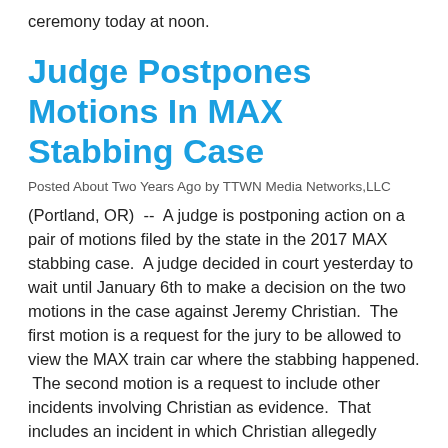ceremony today at noon.
Judge Postpones Motions In MAX Stabbing Case
Posted About Two Years Ago by TTWN Media Networks,LLC
(Portland, OR)  --  A judge is postponing action on a pair of motions filed by the state in the 2017 MAX stabbing case.  A judge decided in court yesterday to wait until January 6th to make a decision on the two motions in the case against Jeremy Christian.  The first motion is a request for the jury to be allowed to view the MAX train car where the stabbing happened.  The second motion is a request to include other incidents involving Christian as evidence.  That includes an incident in which Christian allegedly yelled hate speech on a train one day before the stabbing.  Christian is accused of stabbing Taliesin Namkai-